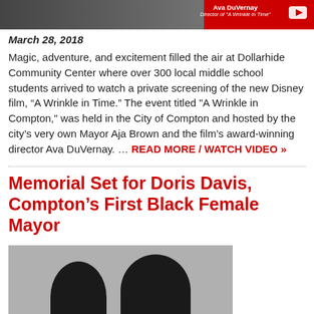[Figure (photo): Top image showing Ava DuVernay, Director of 'A Wrinkle in Time', with a YouTube play button icon on a red background]
March 28, 2018
Magic, adventure, and excitement filled the air at Dollarhide Community Center where over 300 local middle school students arrived to watch a private screening of the new Disney film, “A Wrinkle in Time.” The event titled "A Wrinkle in Compton," was held in the City of Compton and hosted by the city’s very own Mayor Aja Brown and the film’s award-winning director Ava DuVernay. … READ MORE / WATCH VIDEO »
Memorial Set for Doris Davis, Compton’s First Black Female Mayor
[Figure (photo): Black and white photo of two women, related to Doris Davis memorial article]